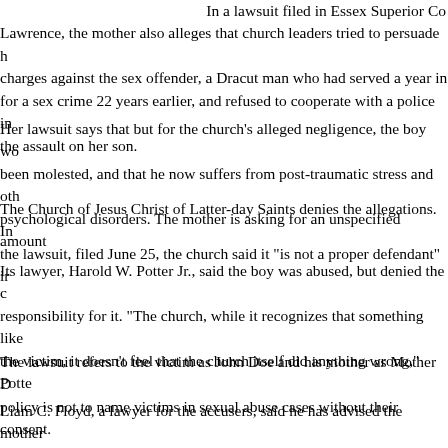In a lawsuit filed in Essex Superior Co Lawrence, the mother also alleges that church leaders tried to persuade h charges against the sex offender, a Dracut man who had served a year in for a sex crime 22 years earlier, and refused to cooperate with a police in the assault on her son.
Her lawsuit says that but for the church's alleged negligence, the boy wo been molested, and that he now suffers from post-traumatic stress and oth psychological disorders. The mother is asking for an unspecified amount
The Church of Jesus Christ of Latter-day Saints denies the allegations. In the lawsuit, filed June 25, the church said it "is not a proper defendant" ir
Its lawyer, Harold W. Potter Jr., said the boy was abused, but denied the c responsibility for it. "The church, while it recognizes that something like the victim, it doesn't feel that the church itself did anything wrong," Potte
The lawsuit refers to the victim as John Doe and his mother as Mother D policy is not to name victims in sexual abuse cases without their consent.
Liam C. Floyd, a lawyer for the accusers, said he has advised the mother now age 13, not to discuss the case. Floyd declined to elaborate.
Potter also denied that the Dracut man, Kevin Gorham, who had served a